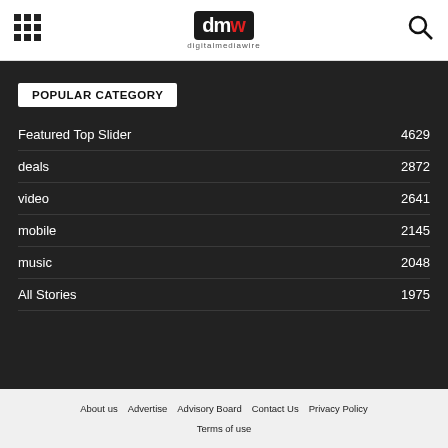digitalmediawire
POPULAR CATEGORY
Featured Top Slider 4629
deals 2872
video 2641
mobile 2145
music 2048
All Stories 1975
About us  Advertise  Advisory Board  Contact Us  Privacy Policy  Terms of use